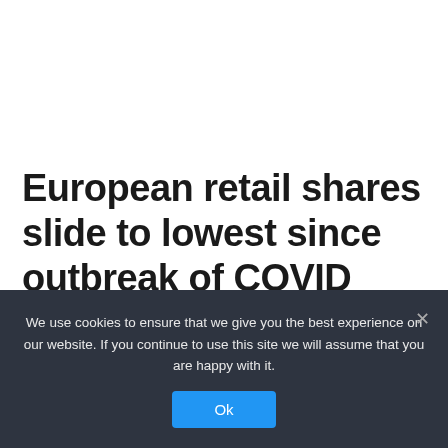European retail shares slide to lowest since outbreak of COVID crisis in 2020
We use cookies to ensure that we give you the best experience on our website. If you continue to use this site we will assume that you are happy with it.